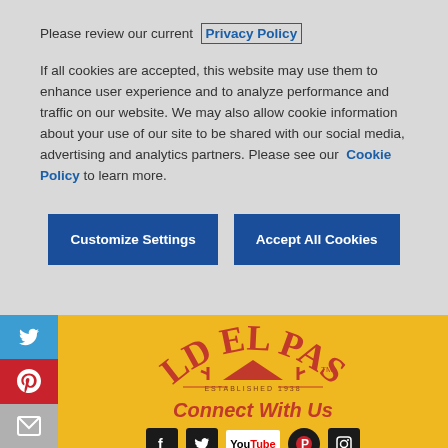Please review our current Privacy Policy
If all cookies are accepted, this website may use them to enhance user experience and to analyze performance and traffic on our website. We may also allow cookie information about your use of our site to be shared with our social media, advertising and analytics partners. Please see our Cookie Policy to learn more.
[Figure (screenshot): Two dark blue buttons: 'Customize Settings' and 'Accept All Cookies']
[Figure (logo): Old El Paso logo - established 1938, on yellow background with social media sidebar (Twitter, Pinterest, Email) and 'Connect With Us' text with social icons below]